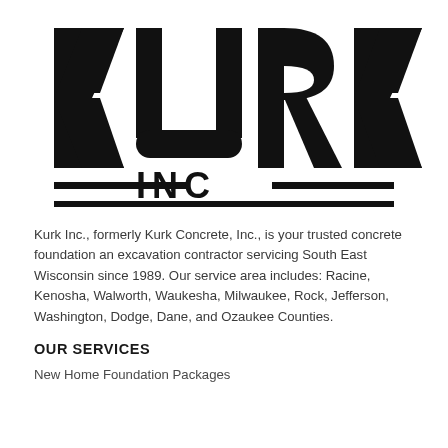[Figure (logo): KURK INC. logo in bold black block letters with thick lines and horizontal rules flanking INC text]
Kurk Inc., formerly Kurk Concrete, Inc., is your trusted concrete foundation an excavation contractor servicing South East Wisconsin since 1989. Our service area includes: Racine, Kenosha, Walworth, Waukesha, Milwaukee, Rock, Jefferson, Washington, Dodge, Dane, and Ozaukee Counties.
OUR SERVICES
New Home Foundation Packages